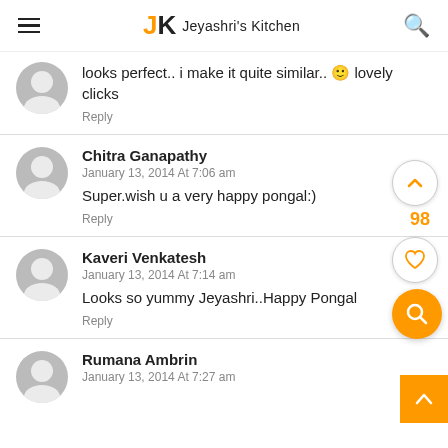JK Jeyashri's Kitchen
looks perfect.. i make it quite similar.. 😊 lovely clicks
Reply
Chitra Ganapathy
January 13, 2014 At 7:06 am
Super.wish u a very happy pongal:)
Reply
Kaveri Venkatesh
January 13, 2014 At 7:14 am
Looks so yummy Jeyashri..Happy Pongal
Reply
Rumana Ambrin
January 13, 2014 At 7:27 am